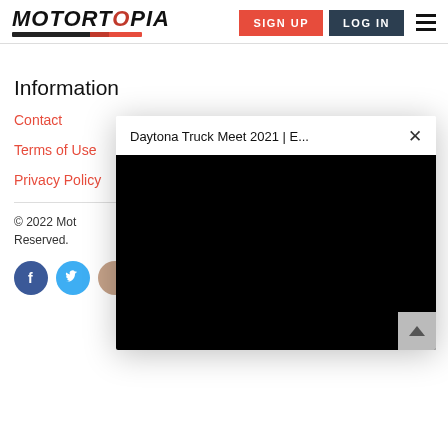MOTORTOPIA | SIGN UP | LOG IN
Information
Contact
Terms of Use
Privacy Policy
© 2022 Motortopia. All Rights Reserved.
[Figure (screenshot): Modal popup showing video player titled 'Daytona Truck Meet 2021 | E...' with a black video area and close (×) button]
[Figure (other): Social media icons: Facebook (blue circle with f), Twitter (blue circle), and another icon at bottom]